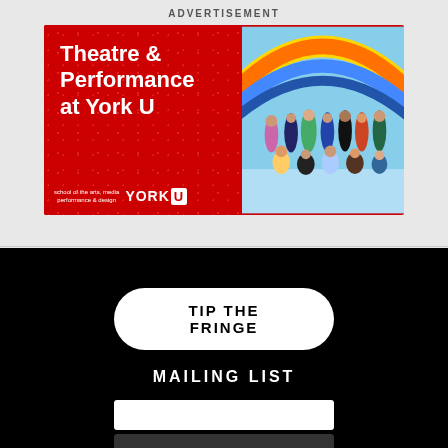ADVERTISEMENT
[Figure (illustration): Advertisement banner for Theatre & Performance at York U. Red background with white bold text reading 'Theatre & Performance at York U'. Right half shows a group photo of students/performers under colorful arched structures. Bottom left has York University school of the arts, media, performance & design logo with YORK U branding.]
TIP THE FRINGE
MAILING LIST